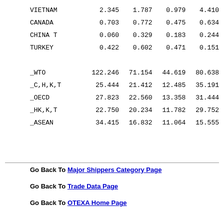| VIETNAM | 2.345 | 1.787 | 0.979 | 4.410 |
| CANADA | 0.703 | 0.772 | 0.475 | 0.634 |
| CHINA T | 0.060 | 0.329 | 0.183 | 0.244 |
| TURKEY | 0.422 | 0.602 | 0.471 | 0.151 |
| _WTO | 122.246 | 71.154 | 44.619 | 80.638 |
| _C,H,K,T | 25.444 | 21.412 | 12.485 | 35.191 |
| _OECD | 27.823 | 22.560 | 13.358 | 31.444 |
| _HK,K,T | 22.750 | 20.234 | 11.782 | 29.752 |
| _ASEAN | 34.415 | 16.832 | 11.064 | 15.555 |
Go Back To Major Shippers Category Page
Go Back To Trade Data Page
Go Back To OTEXA Home Page